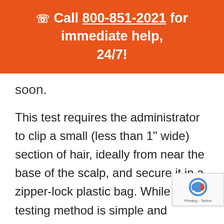📞 Call 800-851-2021 for immediate help, 24/7!
soon.
This test requires the administrator to clip a small (less than 1" wide) section of hair, ideally from near the base of the scalp, and secure it in a zipper-lock plastic bag. While this testing method is simple and convenient, some employees may have a problem w having their hair cut